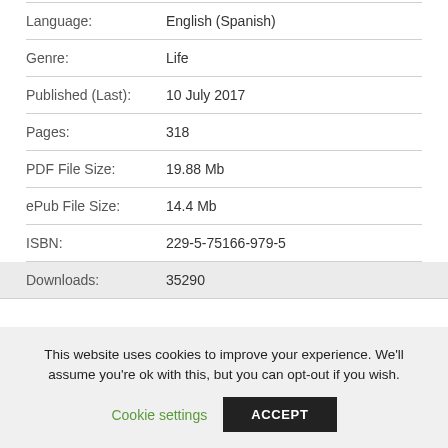| Field | Value |
| --- | --- |
| Language: | English (Spanish) |
| Genre: | Life |
| Published (Last): | 10 July 2017 |
| Pages: | 318 |
| PDF File Size: | 19.88 Mb |
| ePub File Size: | 14.4 Mb |
| ISBN: | 229-5-75166-979-5 |
| Downloads: | 35290 |
This website uses cookies to improve your experience. We'll assume you're ok with this, but you can opt-out if you wish.
Cookie settings
ACCEPT